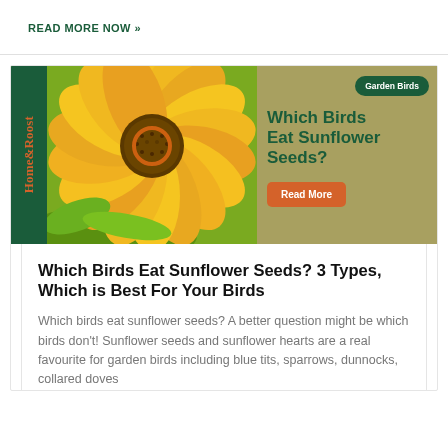READ MORE NOW »
[Figure (illustration): Home&Roost branded article card with sunflower photo on left, dark green sidebar with brand name, and tan text overlay on right with 'Garden Birds' badge, title 'Which Birds Eat Sunflower Seeds?' and orange Read More button]
Which Birds Eat Sunflower Seeds? 3 Types, Which is Best For Your Birds
Which birds eat sunflower seeds? A better question might be which birds don't! Sunflower seeds and sunflower hearts are a real favourite for garden birds including blue tits, sparrows, dunnocks, collared doves